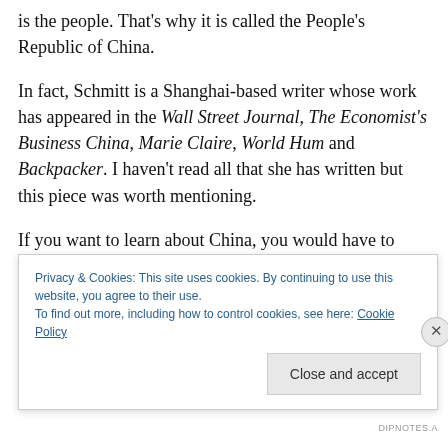is the people. That's why it is called the People's Republic of China.
In fact, Schmitt is a Shanghai-based writer whose work has appeared in the Wall Street Journal, The Economist's Business China, Marie Claire, World Hum and Backpacker. I haven't read all that she has written but this piece was worth mentioning.
If you want to learn about China, you would have to travel to China often or live there as an expatriate as Schmitt has. Marrying into a Chinese family also helps.
Privacy & Cookies: This site uses cookies. By continuing to use this website, you agree to their use.
To find out more, including how to control cookies, see here: Cookie Policy
DIPNOTES.A